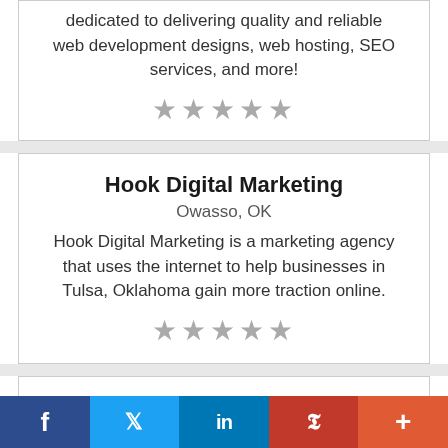dedicated to delivering quality and reliable web development designs, web hosting, SEO services, and more!
★★★★★
Hook Digital Marketing
Owasso, OK
Hook Digital Marketing is a marketing agency that uses the internet to help businesses in Tulsa, Oklahoma gain more traction online.
★★★★★
IBoost Web
Atlanta, GA
iBoost is a search engine optimization and online marketing company situated in Atlanta GA.
f  ✓  in  P  +